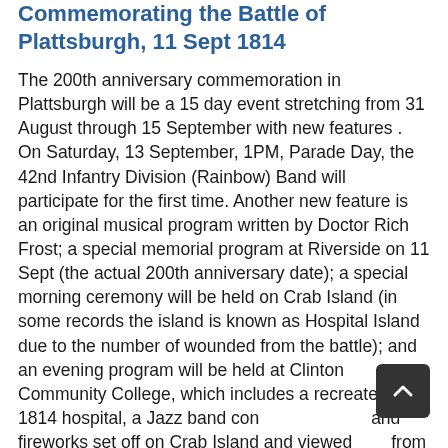Commemorating the Battle of Plattsburgh, 11 Sept 1814
The 200th anniversary commemoration in Plattsburgh will be a 15 day event stretching from 31 August through 15 September with new features . On Saturday, 13 September, 1PM, Parade Day, the 42nd Infantry Division (Rainbow) Band will participate for the first time. Another new feature is an original musical program written by Doctor Rich Frost; a special memorial program at Riverside on 11 Sept (the actual 200th anniversary date); a special morning ceremony will be held on Crab Island (in some records the island is known as Hospital Island due to the number of wounded from the battle); and an evening program will be held at Clinton Community College, which includes a recreated 1814 hospital, a Jazz band concert and fireworks set off on Crab Island and viewed from Clinton Community College.